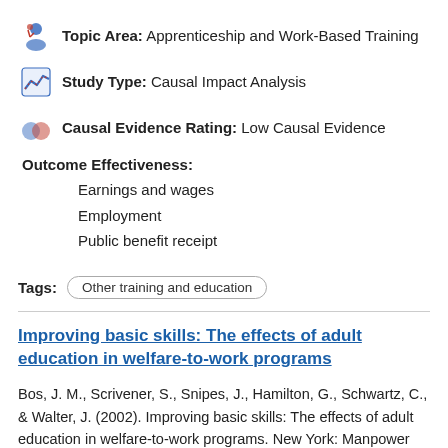Topic Area: Apprenticeship and Work-Based Training
Study Type: Causal Impact Analysis
Causal Evidence Rating: Low Causal Evidence
Outcome Effectiveness:
Earnings and wages
Employment
Public benefit receipt
Tags: Other training and education
Improving basic skills: The effects of adult education in welfare-to-work programs
Bos, J. M., Scrivener, S., Snipes, J., Hamilton, G., Schwartz, C., & Walter, J. (2002). Improving basic skills: The effects of adult education in welfare-to-work programs. New York: Manpower Demonstration Research Corporation.